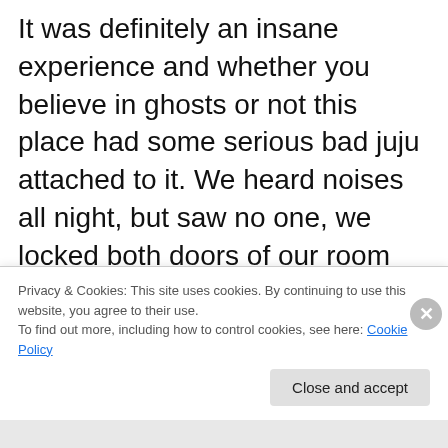It was definitely an insane experience and whether you believe in ghosts or not this place had some serious bad juju attached to it. We heard noises all night, but saw no one, we locked both doors of our room the night before and the next morning my hallway door deadbolt was unlocked and opened from the inside and when we were downstairs my friend found a piano and played it and we both swore someone walked behind us while he was playing but when we looked no one was there. Needless to say, we got the hell out of there that
Privacy & Cookies: This site uses cookies. By continuing to use this website, you agree to their use. To find out more, including how to control cookies, see here: Cookie Policy